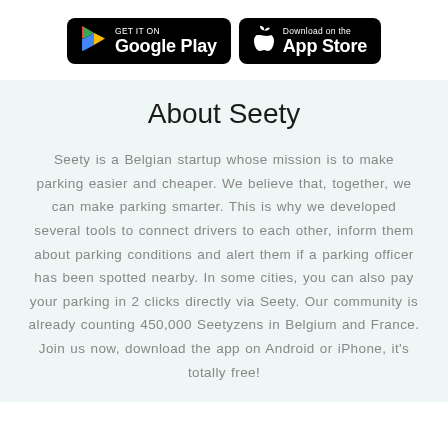[Figure (other): Two app store badges side by side: GET IT ON Google Play (black badge with Google Play triangle logo) and Download on the App Store (black badge with Apple logo)]
About Seety
Seety is a Belgian startup whose mission is to make parking easier and cheaper. We believe that, together, we can make parking smarter. This is why we developed several tools to connect drivers to each other, inform them about parking conditions and alert them if a parking officer has been spotted nearby. In some cities, you can also pay your parking in 2 clicks directly via Seety. Our community is already counting 450,000 Seetyzens in Belgium and France. Join us now, download the app on Android or iPhone, it's totally free!